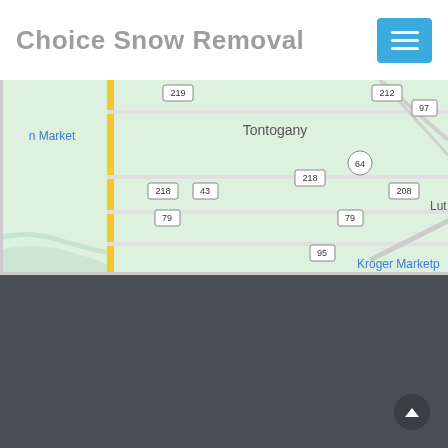Choice Snow Removal
[Figure (map): Google Maps view showing Tontogany, OH area with road numbers 218, 43, 79, 95, 64, 97, 208, 212 and locations including Tontogany, Kroger Marketplace, and n Market label on left]
SNOW REMOVAL IN TONTOGANY, OH
Tontogany, OH, USA
Call now at: 888-348-7353
Hours: Mon-Su 8am - 7pm